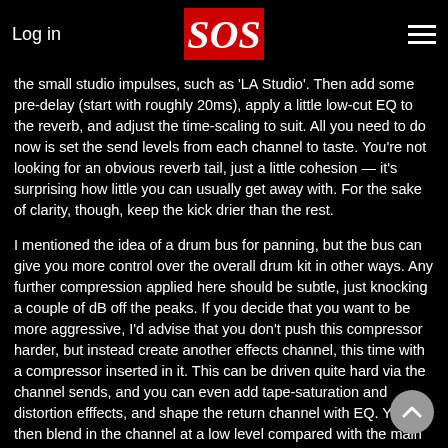Log in | SOS
the small studio impulses, such as 'LA Studio'. Then add some pre-delay (start with roughly 20ms), apply a little low-cut EQ to the reverb, and adjust the time-scaling to suit. All you need to do now is set the send levels from each channel to taste. You're not looking for an obvious reverb tail, just a little cohesion — it's surprising how little you can usually get away with. For the sake of clarity, though, keep the kick drier than the rest.
I mentioned the idea of a drum bus for panning, but the bus can give you more control over the overall drum kit in other ways. Any further compression applied here should be subtle, just knocking a couple of dB off the peaks. If you decide that you want to be more aggressive, I'd advise that you don't push this compressor harder, but instead create another effects channel, this time with a compressor inserted in it. This can be driven quite hard via the channel sends, and you can even add tape-saturation and distortion efffects, and shape the return channel with EQ. You then blend in the channel at a low level compared with the main drum output. This isn't the place to go into how parallel compression works, but you should find that this fattens things up nicely without squeezing all the life out of your drum sound